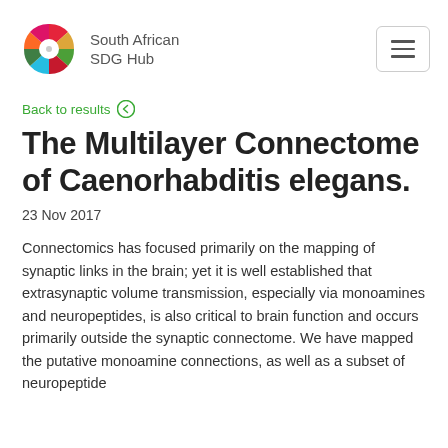South African SDG Hub
Back to results
The Multilayer Connectome of Caenorhabditis elegans.
23 Nov 2017
Connectomics has focused primarily on the mapping of synaptic links in the brain; yet it is well established that extrasynaptic volume transmission, especially via monoamines and neuropeptides, is also critical to brain function and occurs primarily outside the synaptic connectome. We have mapped the putative monoamine connections, as well as a subset of neuropeptide